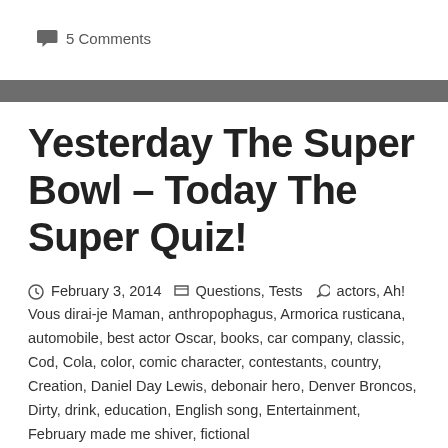5 Comments
Yesterday The Super Bowl – Today The Super Quiz!
February 3, 2014  Questions, Tests  actors, Ah! Vous dirai-je Maman, anthropophagus, Armorica rusticana, automobile, best actor Oscar, books, car company, classic, Cod, Cola, color, comic character, contestants, country, Creation, Daniel Day Lewis, debonair hero, Denver Broncos, Dirty, drink, education, English song, Entertainment, February made me shiver, fictional